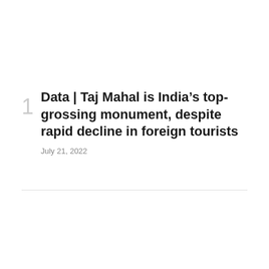Data | Taj Mahal is India’s top-grossing monument, despite rapid decline in foreign tourists
July 21, 2022